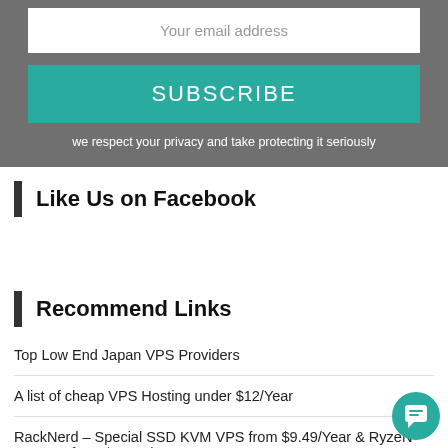Your email address
SUBSCRIBE
we respect your privacy and take protecting it seriously
Like Us on Facebook
Recommend Links
Top Low End Japan VPS Providers
A list of cheap VPS Hosting under $12/Year
RackNerd – Special SSD KVM VPS from $9.49/Year & RyzeN Me VPS from $14.18/Year